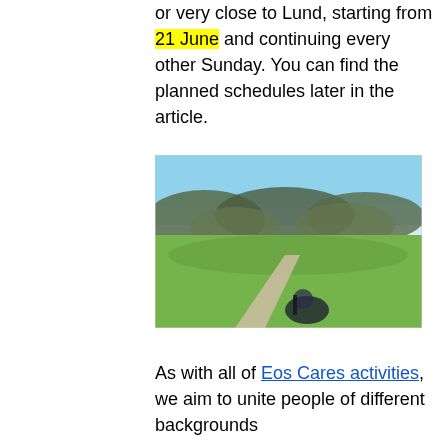or very close to Lund, starting from 21 June and continuing every other Sunday. You can find the planned schedules later in the article.
[Figure (photo): Outdoor landscape photo showing a green field with a dirt path, hills with trees in the background, a blue sky, and a dark object (possibly a person or bicycle) in the foreground.]
As with all of Eos Cares activities, we aim to unite people of different backgrounds